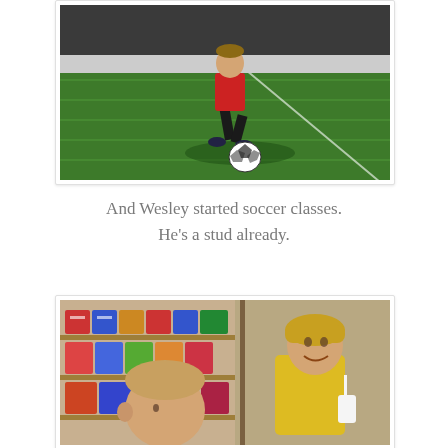[Figure (photo): Young boy in red shirt and black shorts kicking a soccer ball on an indoor green turf field, with shadow visible.]
And Wesley started soccer classes.
He's a stud already.
[Figure (photo): Two young children in a store aisle with snack shelves in background. A girl in a yellow shirt holds a drink cup and smiles; a younger boy is in the foreground.]